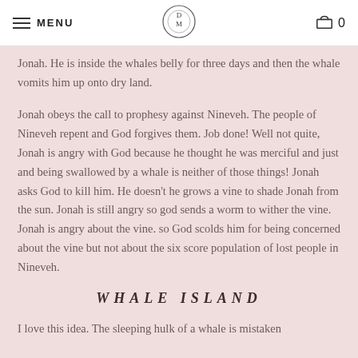MENU | DM logo | 0
Jonah. He is inside the whales belly for three days and then the whale vomits him up onto dry land.
Jonah obeys the call to prophesy against Nineveh. The people of Nineveh repent and God forgives them. Job done! Well not quite, Jonah is angry with God because he thought he was merciful and just and being swallowed by a whale is neither of those things! Jonah asks God to kill him. He doesn't he grows a vine to shade Jonah from the sun. Jonah is still angry so god sends a worm to wither the vine. Jonah is angry about the vine. so God scolds him for being concerned about the vine but not about the six score population of lost people in Nineveh.
WHALE ISLAND
I love this idea. The sleeping hulk of a whale is mistaken